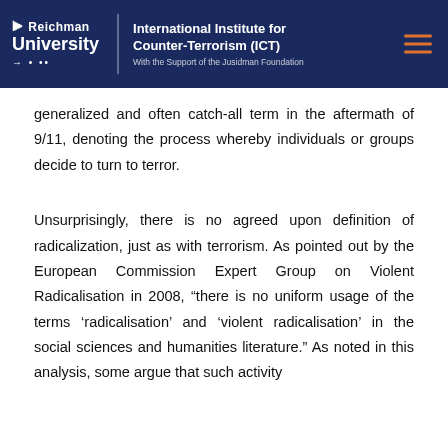Reichman University — International Institute for Counter-Terrorism (ICT) — With the Support of the Jusidman Foundation
generalized and often catch-all term in the aftermath of 9/11, denoting the process whereby individuals or groups decide to turn to terror.
Unsurprisingly, there is no agreed upon definition of radicalization, just as with terrorism. As pointed out by the European Commission Expert Group on Violent Radicalisation in 2008, “there is no uniform usage of the terms ‘radicalisation’ and ‘violent radicalisation’ in the social sciences and humanities literature.” As noted in this analysis, some argue that such activity